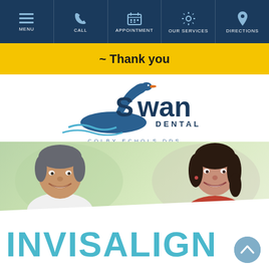MENU | CALL | APPOINTMENT | OUR SERVICES | DIRECTIONS
~ Thank you
[Figure (logo): Swan Dental logo with swan illustration and text 'Swan DENTAL COLBY ECHOLS DDS']
[Figure (photo): A smiling middle-aged man and woman, photographed outdoors with blurred green background]
INVISALIGN